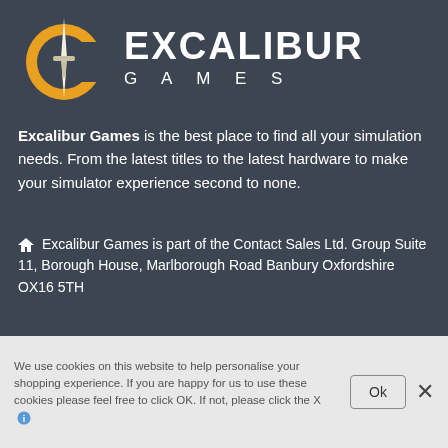[Figure (logo): Excalibur Games logo: gold circular 'E' icon with sword, white text 'EXCALIBUR' large with 'GAMES' spaced below]
Excalibur Games is the best place to find all your simulation needs. From the latest titles to the latest hardware to make your simulator experience second to none.
Excalibur Games is part of the Contact Sales Ltd. Group Suite 11, Borough House, Marlborough Road Banbury Oxfordshire OX16 5TH
We use cookies on this website to help personalise your shopping experience. If you are happy for us to use these cookies please feel free to click OK. If not, please click the X